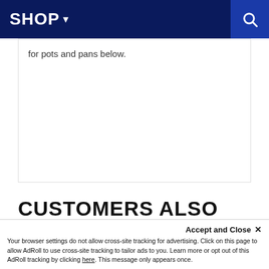SHOP ▾
for pots and pans below.
CUSTOMERS ALSO VIEWED
Welcome! My name is Dan Nantais, owner of Milcarsky's. How can I assist you today?
Your browser settings do not allow cross-site tracking for advertising. Click on this page to allow AdRoll to use cross-site tracking to tailor ads to you. Learn more or opt out of this AdRoll tracking by clicking here. This message only appears once.